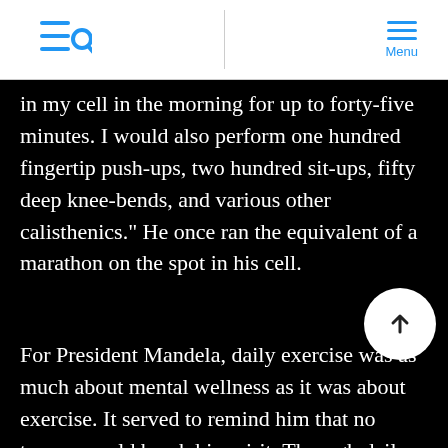Menu
in my cell in the morning for up to forty-five minutes. I would also perform one hundred fingertip push-ups, two hundred sit-ups, fifty deep knee-bends, and various other calisthenics." He once ran the equivalent of a marathon on the spot in his cell.
For President Mandela, daily exercise was as much about mental wellness as it was about exercise. It served to remind him that no trauma could break his spirit. Through daily exercise he found the strength to handle